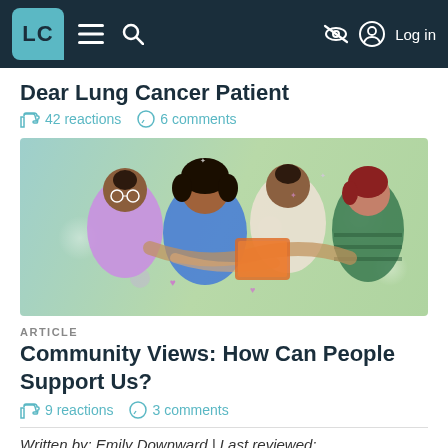LC (logo) | navigation bar with menu, search, accessibility, log in
Dear Lung Cancer Patient
42 reactions  6 comments
[Figure (illustration): Illustration of four people hugging each other warmly against a green background, with colorful sparkles and hearts.]
ARTICLE
Community Views: How Can People Support Us?
9 reactions  3 comments
Written by: Emily Downward | Last reviewed: